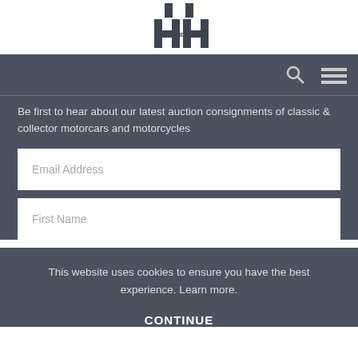[Figure (logo): H and H logo — stylized HH letters with AND text]
[Figure (other): Navigation bar with search icon and hamburger menu icon]
Be first to hear about our latest auction consignments of classic & collector motorcars and motorcycles
Email Address (input field placeholder)
First Name (input field placeholder)
This website uses cookies to ensure you have the best experience. Learn more.
CONTINUE